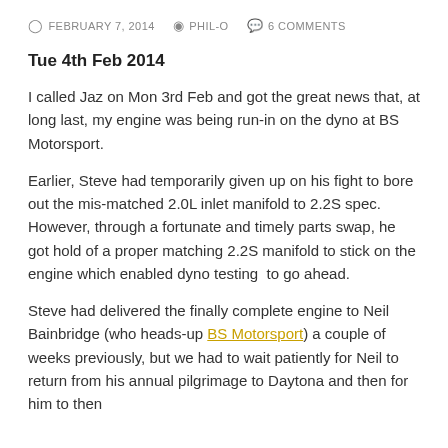FEBRUARY 7, 2014  PHIL-O  6 COMMENTS
Tue 4th Feb 2014
I called Jaz on Mon 3rd Feb and got the great news that, at long last, my engine was being run-in on the dyno at BS Motorsport.
Earlier, Steve had temporarily given up on his fight to bore out the mis-matched 2.0L inlet manifold to 2.2S spec. However, through a fortunate and timely parts swap, he got hold of a proper matching 2.2S manifold to stick on the engine which enabled dyno testing  to go ahead.
Steve had delivered the finally complete engine to Neil Bainbridge (who heads-up BS Motorsport) a couple of weeks previously, but we had to wait patiently for Neil to return from his annual pilgrimage to Daytona and then for him to then